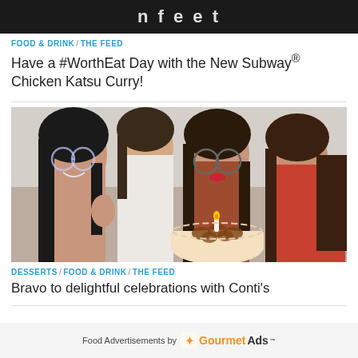[Figure (photo): Dark/black header image with partial text or logo visible in white]
FOOD & DRINK / THE FEED
Have a #WorthEat Day with the New Subway® Chicken Katsu Curry!
[Figure (photo): Four young women smiling and posing with a birthday cake with a lit candle. Woman on far left wears glasses and makes a peace sign. Two women in the center and right are also smiling warmly.]
DESSERTS / FOOD & DRINK / THE FEED
Bravo to delightful celebrations with Conti's
Food Advertisements by GourmetAds™